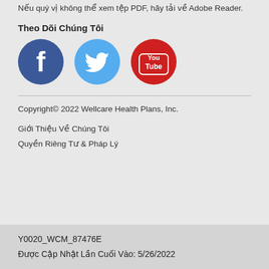Nếu quý vị không thể xem tệp PDF, hãy tải về Adobe Reader.
Theo Dõi Chúng Tôi
[Figure (illustration): Three social media icons: Facebook (blue circle with white F), Twitter (light blue circle with white bird), YouTube (red circle with white YouTube logo)]
Copyright© 2022 Wellcare Health Plans, Inc.
Giới Thiệu Về Chúng Tôi
Quyền Riêng Tư & Pháp Lý
Y0020_WCM_87476E
Được Cập Nhật Lần Cuối Vào: 5/26/2022